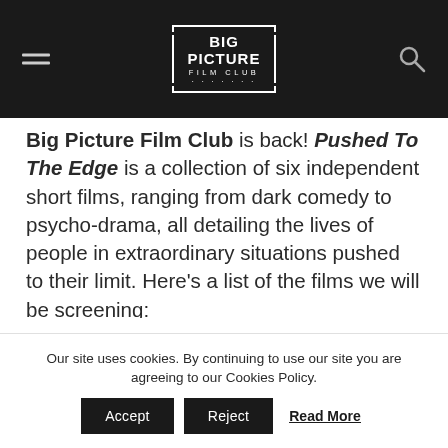Big Picture Film Club
Big Picture Film Club is back! Pushed To The Edge is a collection of six independent short films, ranging from dark comedy to psycho-drama, all detailing the lives of people in extraordinary situations pushed to their limit. Here's a list of the films we will be screening:
* 1500 Words (Dir. Andrew Chaplin): 1500
Our site uses cookies. By continuing to use our site you are agreeing to our Cookies Policy.